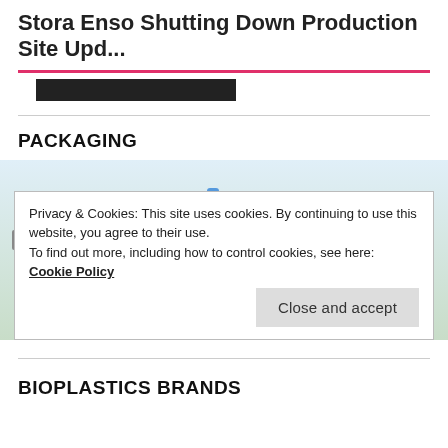Stora Enso Shutting Down Production Site Upd...
PACKAGING
[Figure (photo): Photo of various laundry detergent and cleaning product bottles arranged in a row, including brands such as Giant, Signal, Milbona, Persil, Total, and others, in blue, white, yellow, and red packaging.]
Privacy & Cookies: This site uses cookies. By continuing to use this website, you agree to their use.
To find out more, including how to control cookies, see here: Cookie Policy
Close and accept
BIOPLASTICS BRANDS